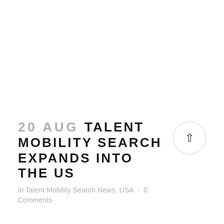20 AUG TALENT MOBILITY SEARCH EXPANDS INTO THE US
in Talent Mobility Search News, USA · 0 Comments